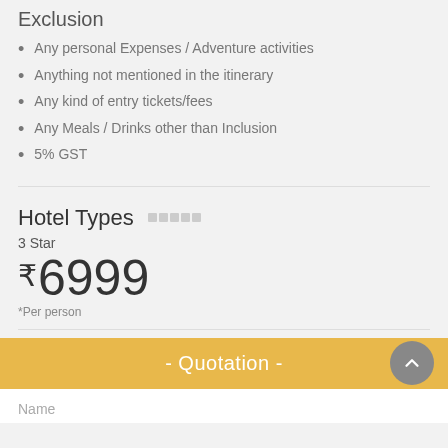Exclusion
Any personal Expenses / Adventure activities
Anything not mentioned in the itinerary
Any kind of entry tickets/fees
Any Meals / Drinks other than Inclusion
5% GST
Hotel Types
3 Star
₹6999
*Per person
- Quotation -
Name